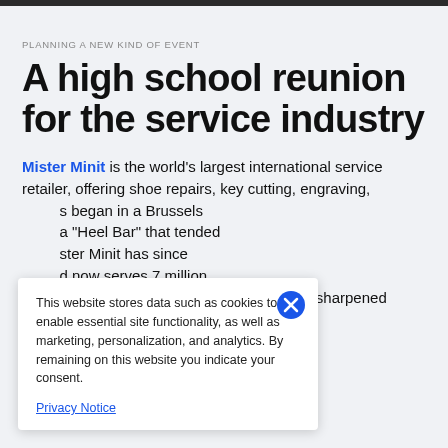PLANNING A NEW KIND OF EVENT
A high school reunion for the service industry
Mister Minit is the world's largest international service retailer, offering shoe repairs, key cutting, engraving, ... began in a Brussels ... a "Heel Bar" that tended ... ster Minit has since ... d now serves 7 million customers each year. If there's a knife to be sharpened
This website stores data such as cookies to enable essential site functionality, as well as marketing, personalization, and analytics. By remaining on this website you indicate your consent.

Privacy Notice